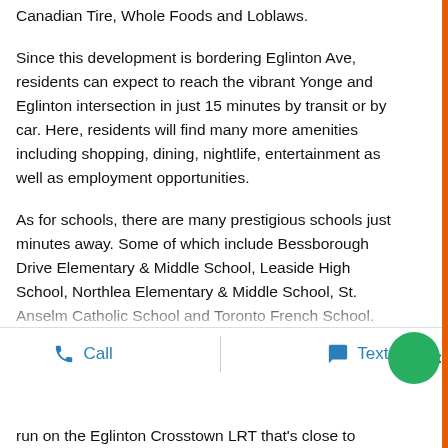Canadian Tire, Whole Foods and Loblaws.
Since this development is bordering Eglinton Ave, residents can expect to reach the vibrant Yonge and Eglinton intersection in just 15 minutes by transit or by car. Here, residents will find many more amenities including shopping, dining, nightlife, entertainment as well as employment opportunities.
As for schools, there are many prestigious schools just minutes away. Some of which include Bessborough Drive Elementary & Middle School, Leaside High School, Northlea Elementary & Middle School, St. Anselm Catholic School and Toronto French School.
When it comes to transit, investors will want to take
run on the Eglinton Crosstown LRT that's close to